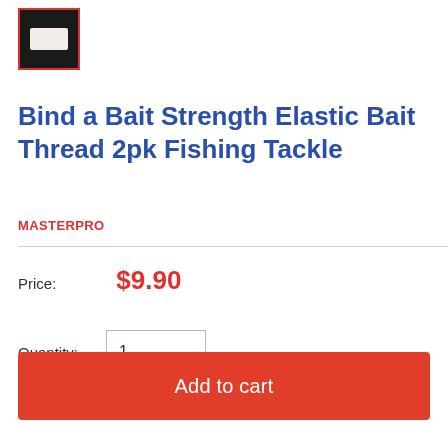[Figure (photo): Small thumbnail image of bait thread product on dark background, with red border frame]
Bind a Bait Strength Elastic Bait Thread 2pk Fishing Tackle
MASTERPRO
Price: $9.90
Quantity: 1
Add to cart